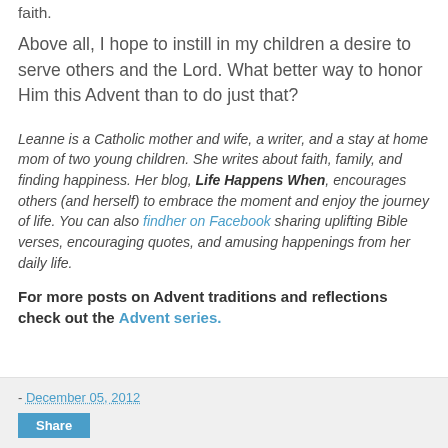faith.
Above all, I hope to instill in my children a desire to serve others and the Lord. What better way to honor Him this Advent than to do just that?
Leanne is a Catholic mother and wife, a writer, and a stay at home mom of two young children. She writes about faith, family, and finding happiness. Her blog, Life Happens When, encourages others (and herself) to embrace the moment and enjoy the journey of life. You can also findher on Facebook sharing uplifting Bible verses, encouraging quotes, and amusing happenings from her daily life.
For more posts on Advent traditions and reflections check out the Advent series.
- December 05, 2012
Share